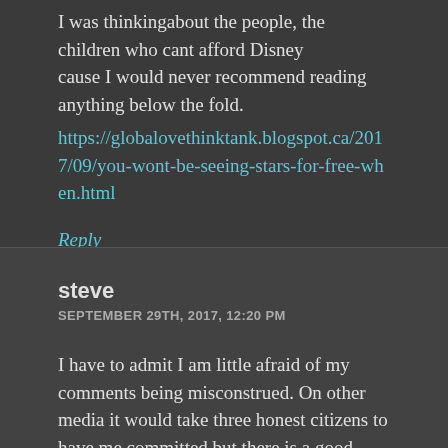I was thinkingabout the people, the children who cant afford Disney cause I would never recommend reading anything below the fold.
https://globalovethinktank.blogspot.ca/2017/09/you-wont-be-seeing-stars-for-free-when.html
Reply
steve
SEPTEMBER 29TH, 2017, 12:20 PM
I have to admit I am little afraid of my comments being misconstrued. On other media it would take three honest citizens to have me committed but there is a good chance just one McGill prof could be seen as uber neccesitate. No worries I am on topic its internet security. The best